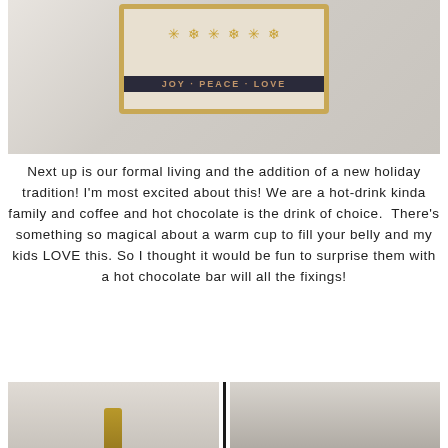[Figure (photo): A wood-framed artwork or shadow box mounted on a light gray wall. The frame is natural oak/tan colored. Inside the frame are golden snowflake decorations at the top and a dark navy/black banner with text below.]
Next up is our formal living and the addition of a new holiday tradition! I'm most excited about this! We are a hot-drink kinda family and coffee and hot chocolate is the drink of choice. There's something so magical about a warm cup to fill your belly and my kids LOVE this. So I thought it would be fun to surprise them with a hot chocolate bar will all the fixings!
[Figure (photo): Two side-by-side photos at the bottom of the page, partially cropped. The left photo shows a figurine or decorative object (appears gold/bronze colored) against a light wall. The right photo shows a dark surface or object against a light background.]